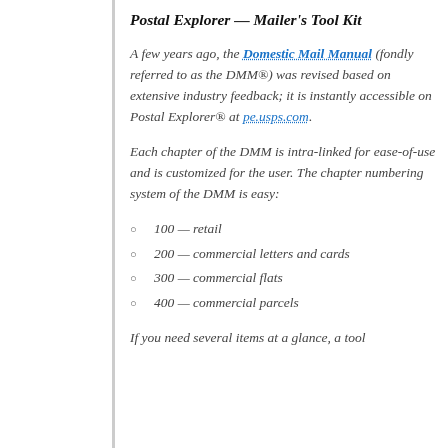Postal Explorer — Mailer's Tool Kit
A few years ago, the Domestic Mail Manual (fondly referred to as the DMM®) was revised based on extensive industry feedback; it is instantly accessible on Postal Explorer® at pe.usps.com.
Each chapter of the DMM is intra-linked for ease-of-use and is customized for the user. The chapter numbering system of the DMM is easy:
100 — retail
200 — commercial letters and cards
300 — commercial flats
400 — commercial parcels
If you need several items at a glance, a tool